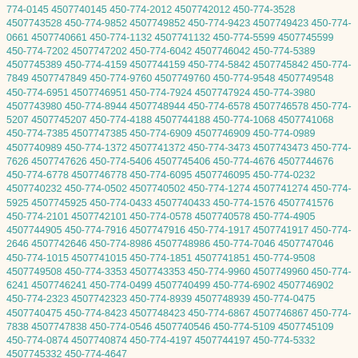774-0145 4507740145 450-774-2012 4507742012 450-774-3528 4507743528 450-774-9852 4507749852 450-774-9423 4507749423 450-774-0661 4507740661 450-774-1132 4507741132 450-774-5599 4507745599 450-774-7202 4507747202 450-774-6042 4507746042 450-774-5389 4507745389 450-774-4159 4507744159 450-774-5842 4507745842 450-774-7849 4507747849 450-774-9760 4507749760 450-774-9548 4507749548 450-774-6951 4507746951 450-774-7924 4507747924 450-774-3980 4507743980 450-774-8944 4507748944 450-774-6578 4507746578 450-774-5207 4507745207 450-774-4188 4507744188 450-774-1068 4507741068 450-774-7385 4507747385 450-774-6909 4507746909 450-774-0989 4507740989 450-774-1372 4507741372 450-774-3473 4507743473 450-774-7626 4507747626 450-774-5406 4507745406 450-774-4676 4507744676 450-774-6778 4507746778 450-774-6095 4507746095 450-774-0232 4507740232 450-774-0502 4507740502 450-774-1274 4507741274 450-774-5925 4507745925 450-774-0433 4507740433 450-774-1576 4507741576 450-774-2101 4507742101 450-774-0578 4507740578 450-774-4905 4507744905 450-774-7916 4507747916 450-774-1917 4507741917 450-774-2646 4507742646 450-774-8986 4507748986 450-774-7046 4507747046 450-774-1015 4507741015 450-774-1851 4507741851 450-774-9508 4507749508 450-774-3353 4507743353 450-774-9960 4507749960 450-774-6241 4507746241 450-774-0499 4507740499 450-774-6902 4507746902 450-774-2323 4507742323 450-774-8939 4507748939 450-774-0475 4507740475 450-774-8423 4507748423 450-774-6867 4507746867 450-774-7838 4507747838 450-774-0546 4507740546 450-774-5109 4507745109 450-774-0874 4507740874 450-774-4197 4507744197 450-774-5332 4507745332 450-774-4647